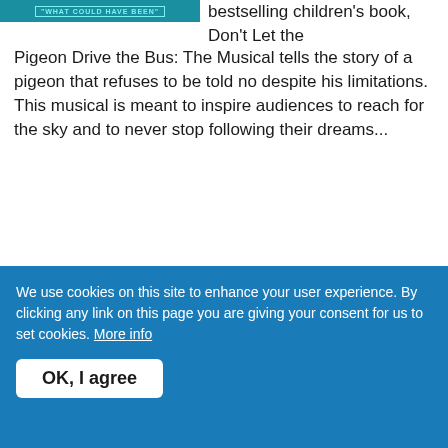[Figure (illustration): Book cover image with teal/cyan background and text 'WHAT COULD HAVE BEEN']
bestselling children's book, Don't Let the Pigeon Drive the Bus: The Musical tells the story of a pigeon that refuses to be told no despite his limitations. This musical is meant to inspire audiences to reach for the sky and to never stop following their dreams...
Read more
$35.00
Buy Now
Hone your scenework skills and get exclusive insight from our authors with Dramatic
We use cookies on this site to enhance your user experience. By clicking any link on this page you are giving your consent for us to set cookies. More info
OK, I agree